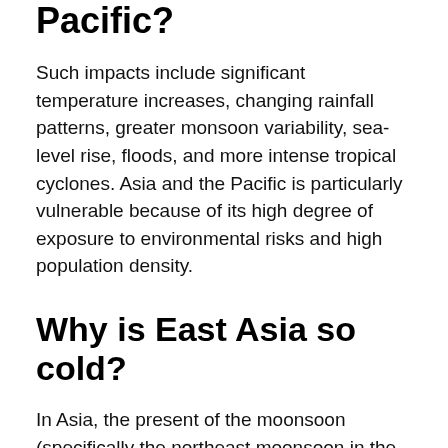Pacific?
Such impacts include significant temperature increases, changing rainfall patterns, greater monsoon variability, sea-level rise, floods, and more intense tropical cyclones. Asia and the Pacific is particularly vulnerable because of its high degree of exposure to environmental risks and high population density.
Why is East Asia so cold?
In Asia, the present of the moonsoon (specifically the northeast moonsoon in the northern winter) allows cold air from northern Asia and Siberia to reach the tropics and cool down the temperature in near